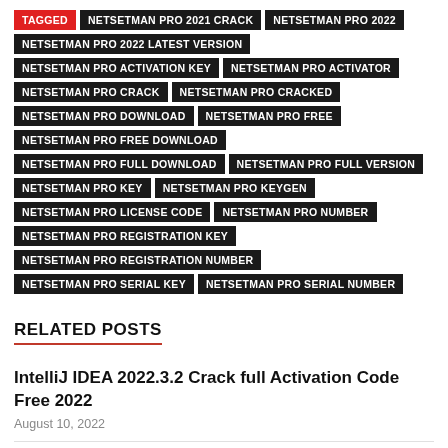TAGGED NETSETMAN PRO 2021 CRACK NETSETMAN PRO 2022 NETSETMAN PRO 2022 LATEST VERSION NETSETMAN PRO ACTIVATION KEY NETSETMAN PRO ACTIVATOR NETSETMAN PRO CRACK NETSETMAN PRO CRACKED NETSETMAN PRO DOWNLOAD NETSETMAN PRO FREE NETSETMAN PRO FREE DOWNLOAD NETSETMAN PRO FULL DOWNLOAD NETSETMAN PRO FULL VERSION NETSETMAN PRO KEY NETSETMAN PRO KEYGEN NETSETMAN PRO LICENSE CODE NETSETMAN PRO NUMBER NETSETMAN PRO REGISTRATION KEY NETSETMAN PRO REGISTRATION NUMBER NETSETMAN PRO SERIAL KEY NETSETMAN PRO SERIAL NUMBER
RELATED POSTS
IntelliJ IDEA 2022.3.2 Crack full Activation Code Free 2022
August 10, 2022
WinAutomation 9.2.4.8241Crack & Keygen Latest